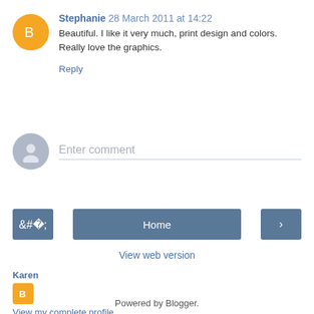Stephanie 28 March 2011 at 14:22
Beautiful. I like it very much, print design and colors. Really love the graphics.
Reply
[Figure (illustration): Enter comment area with gray avatar silhouette and placeholder text 'Enter comment']
‹  Home  ›
View web version
Karen
[Figure (logo): Blogger orange icon with B logo]
View my complete profile
Powered by Blogger.